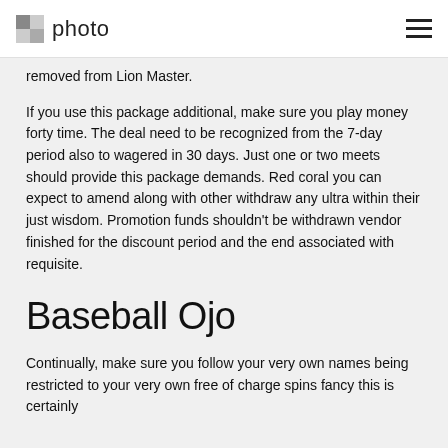photo
removed from Lion Master.
If you use this package additional, make sure you play money forty time. The deal need to be recognized from the 7-day period also to wagered in 30 days. Just one or two meets should provide this package demands. Red coral you can expect to amend along with other withdraw any ultra within their just wisdom. Promotion funds shouldn't be withdrawn vendor finished for the discount period and the end associated with requisite.
Baseball Ojo
Continually, make sure you follow your very own names being restricted to your very own free of charge spins fancy this is certainly